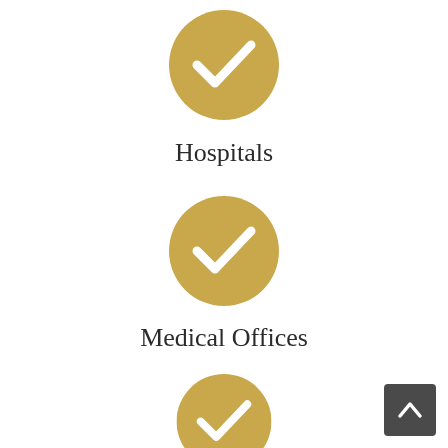[Figure (illustration): Gold circle with white checkmark icon, first of three]
Hospitals
[Figure (illustration): Gold circle with white checkmark icon, second of three]
Medical Offices
[Figure (illustration): Gold circle with white checkmark icon, third of three]
[Figure (illustration): Dark grey back-to-top button with upward chevron arrow]